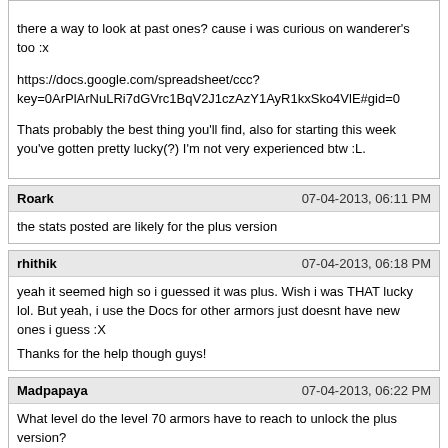there a way to look at past ones? cause i was curious on wanderer's too :x

https://docs.google.com/spreadsheet/ccc?key=0ArPlArNuLRi7dGVrc1BqV2J1czAzY1AyR1kxSko4VlE#gid=0

Thats probably the best thing you'll find, also for starting this week you've gotten pretty lucky(?) I'm not very experienced btw :L.
Roark
07-04-2013, 06:11 PM
the stats posted are likely for the plus version
rhithik
07-04-2013, 06:18 PM
yeah it seemed high so i guessed it was plus. Wish i was THAT lucky lol. But yeah, i use the Docs for other armors just doesnt have new ones i guess :X

Thanks for the help though guys!
Madpapaya
07-04-2013, 06:22 PM
What level do the level 70 armors have to reach to unlock the plus version?
deathexe
07-04-2013, 06:24 PM
What level do the level 70 armors have to reach to unlock the plus version?

Level 35 for 70 armors
tonedge
07-04-2013, 06:31 PM
What level do the level 70 armors have to reach to unlock the plus version?
*** = 20 **** = 35